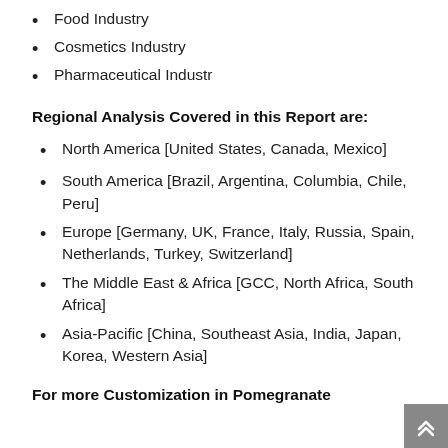Food Industry
Cosmetics Industry
Pharmaceutical Industr
Regional Analysis Covered in this Report are:
North America [United States, Canada, Mexico]
South America [Brazil, Argentina, Columbia, Chile, Peru]
Europe [Germany, UK, France, Italy, Russia, Spain, Netherlands, Turkey, Switzerland]
The Middle East & Africa [GCC, North Africa, South Africa]
Asia-Pacific [China, Southeast Asia, India, Japan, Korea, Western Asia]
For more Customization in Pomegranate